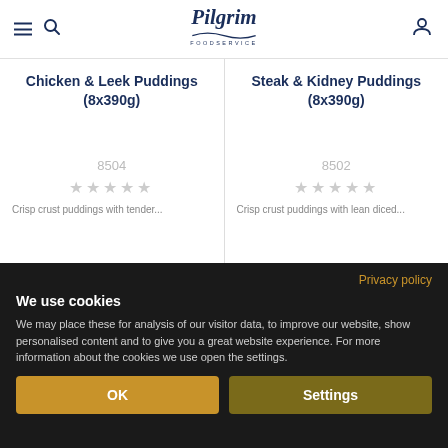Pilgrim Foodservice
Chicken & Leek Puddings (8x390g)
8504
Steak & Kidney Puddings (8x390g)
8502
Privacy policy
We use cookies
We may place these for analysis of our visitor data, to improve our website, show personalised content and to give you a great website experience. For more information about the cookies we use open the settings.